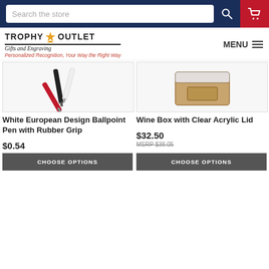[Figure (screenshot): Search bar with 'Search the store' placeholder, search icon button, and shopping cart icon on dark navy background]
[Figure (logo): Trophy Outlet Gifts and Engraving logo with trophy icon, tagline: Personalized Recognition, Your Way the Right Way]
[Figure (photo): White European Design Ballpoint Pen with Rubber Grip product image showing pens]
White European Design Ballpoint Pen with Rubber Grip
$0.54
CHOOSE OPTIONS
[Figure (photo): Wine Box with Clear Acrylic Lid product image]
Wine Box with Clear Acrylic Lid
$32.50
MSRP $38.05
CHOOSE OPTIONS